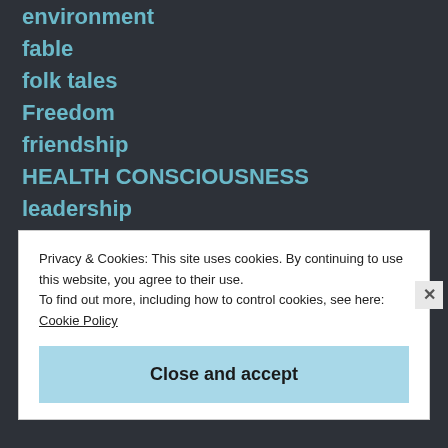environment
fable
folk tales
Freedom
friendship
HEALTH CONSCIOUSNESS
leadership
LIFESTYLE
LOVE
MENTORING
MORAL
Privacy & Cookies: This site uses cookies. By continuing to use this website, you agree to their use.
To find out more, including how to control cookies, see here: Cookie Policy
Close and accept